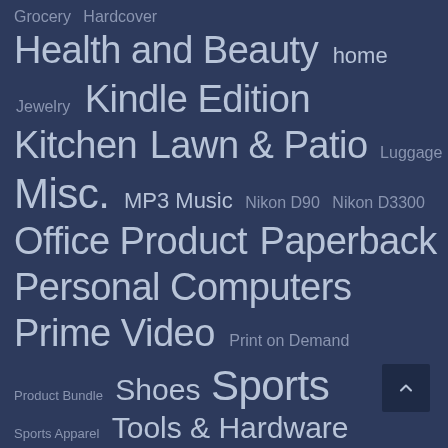[Figure (infographic): Tag cloud on dark navy background showing various product category names in varying font sizes. Categories include: Grocery, Hardcover, Health and Beauty, home, Jewelry, Kindle Edition, Kitchen, Lawn & Patio, Luggage, Misc., MP3 Music, Nikon D90, Nikon D3300, Office Product, Paperback, Personal Computers, Prime Video, Print on Demand, Product Bundle, Shoes, Sports, Sports Apparel, Tools & Hardware, Tools & Home. A back-to-top button (chevron up) appears at bottom right.]